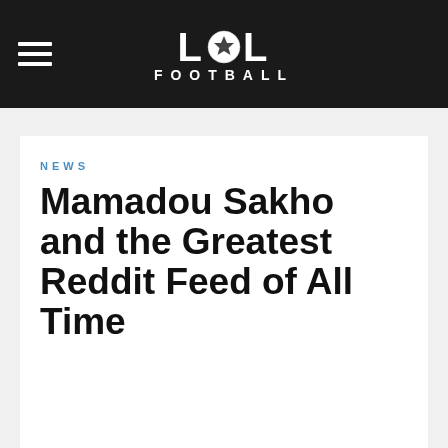LOL FOOTBALL
NEWS
Mamadou Sakho and the Greatest Reddit Feed of All Time